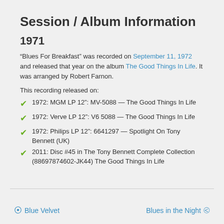Session / Album Information
1971
“Blues For Breakfast” was recorded on September 11, 1972 and released that year on the album The Good Things In Life. It was arranged by Robert Farnon.
This recording released on:
1972: MGM LP 12”: MV-5088 — The Good Things In Life
1972: Verve LP 12”: V6 5088 — The Good Things In Life
1972: Philips LP 12”: 6641297 — Spotlight On Tony Bennett (UK)
2011: Disc #45 in The Tony Bennett Complete Collection (88697874602-JK44) The Good Things In Life
Blue Velvet   Blues in the Night